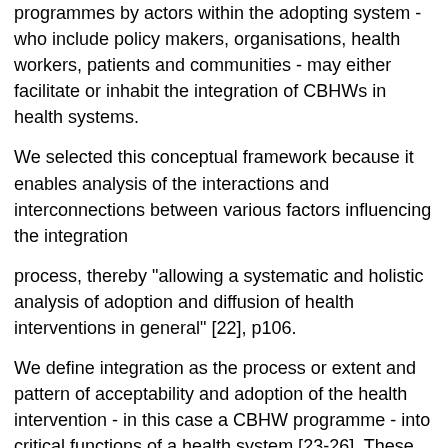programmes by actors within the adopting system - who include policy makers, organisations, health workers, patients and communities - may either facilitate or inhabit the integration of CBHWs in health systems.
We selected this conceptual framework because it enables analysis of the interactions and interconnections between various factors influencing the integration
process, thereby "allowing a systematic and holistic analysis of adoption and diffusion of health interventions in general" [22], p106.
We define integration as the process or extent and pattern of acceptability and adoption of the health intervention - in this case a CBHW programme - into critical functions of a health system [23-26]. These include the existing governance and leadership of an existing national health system as well as the shared goals and outcomes of existing health activities.
Meanwhile, the integration status of health interventions into health systems can take different